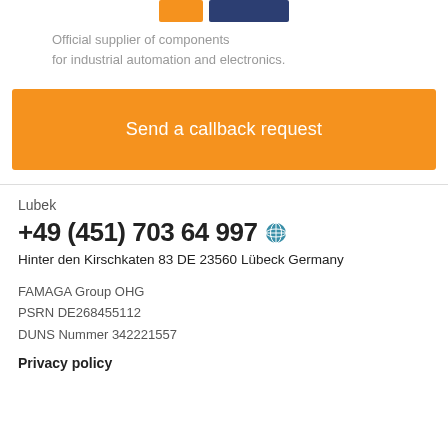[Figure (logo): Orange and dark blue logo bar for FAMAGA Group]
Official supplier of components
for industrial automation and electronics.
Send a callback request
Lubek
+49 (451) 703 64 997
Hinter den Kirschkaten 83 DE 23560 Lübeck Germany
FAMAGA Group OHG
PSRN DE268455112
DUNS Nummer 342221557
Privacy policy